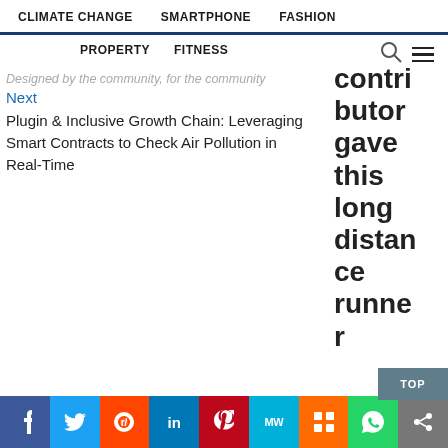CLIMATE CHANGE    SMARTPHONE    FASHION
PROPERTY    FITNESS
Designed by the community, for the community
Next
Plugin & Inclusive Growth Chain: Leveraging Smart Contracts to Check Air Pollution in Real-Time
contributor gave this long distance runner heart ... furthermore, an
f  Twitter  Reddit  in  Pinterest  mw  mix  WhatsApp  Share